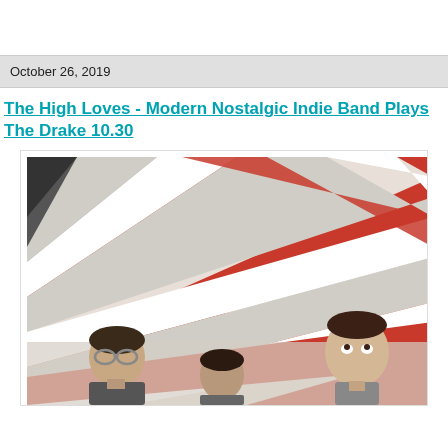October 26, 2019
The High Loves - Modern Nostalgic Indie Band Plays The Drake 10.30
[Figure (photo): Band photo showing three young men looking upward, posed against a geometric chevron-patterned ceiling in red, white, and grey. One member on the left wears glasses.]